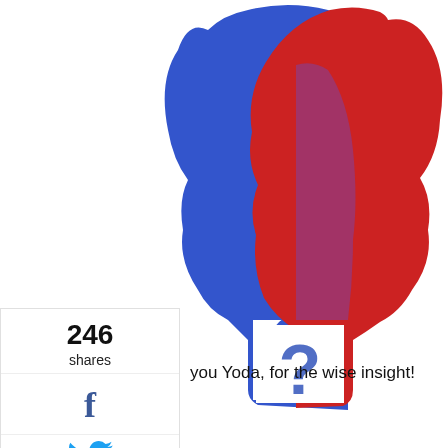[Figure (illustration): Two human head silhouettes facing opposite directions, one blue and one red, with a question mark in the overlap area. Blue head faces right, red head faces left. Illustration taken from pixabay.com.]
Image taken from pixabay.com
246
shares
you Yoda, for the wise insight!
Leave them alone… Trust me on this one, the audience will not even sign up for the talk, let alone